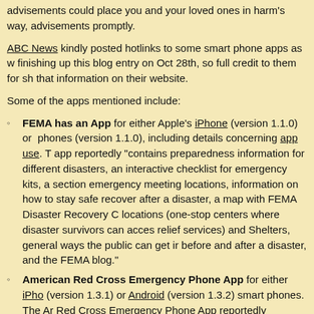advisements could place you and your loved ones in harm's way, advisements promptly.
ABC News kindly posted hotlinks to some smart phone apps as w finishing up this blog entry on Oct 28th, so full credit to them for sh that information on their website.
Some of the apps mentioned include:
FEMA has an App for either Apple's iPhone (version 1.1.0) or phones (version 1.1.0), including details concerning app use. T app reportedly "contains preparedness information for different disasters, an interactive checklist for emergency kits, a section emergency meeting locations, information on how to stay safe recover after a disaster, a map with FEMA Disaster Recovery C locations (one-stop centers where disaster survivors can acces relief services) and Shelters, general ways the public can get ir before and after a disaster, and the FEMA blog."
American Red Cross Emergency Phone App for either iPho (version 1.3.1) or Android (version 1.3.2) smart phones. The Ar Red Cross Emergency Phone App reportedly includes access National Oceanic and Atmospheric Administration (NOAA) hurr related weather condition alerts for the US and its territories; a Hurricane Toolkit from the American Red Cross for your smart with a strobe light, flashlight, and audible alert functions; inform emergency kit assembly; listing of open Red Cross shelters in area; step-by-step instructions for what to do before/during/aft storm; reminders with caveats concerning handling food and dr